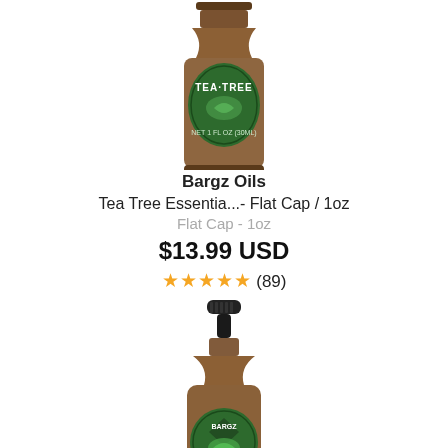[Figure (photo): Top portion of a brown glass bottle with a green label showing 'Tea Tree' text and a flat cap, cropped at the top of the image]
Bargz Oils
Tea Tree Essentia...- Flat Cap / 1oz
Flat Cap - 1oz
$13.99 USD
★★★★★ (89)
[Figure (photo): A brown glass dropper bottle with a black dropper cap and a green circular label with the Bargz brand logo, showing the lower portion of the bottle]